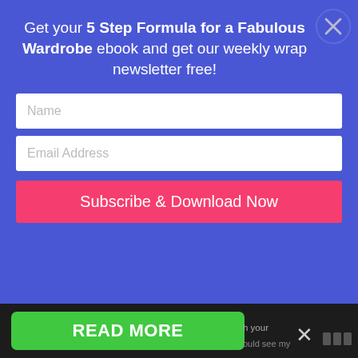[Figure (screenshot): Email subscription popup overlay on a blue background with title 'Get your 5 Step Formula for a Fabulous Wardrobe ebook and get our weekly wrap newsletter free!', Name input field, Email Address input field, and a pink 'Subscribe & Download Now' button. A circular close (X) button is in the top right. Behind the popup is an article text block with partial text about wardrobe.]
would have 4 more bottoms, and the outfits would most probably not relate to each other color-wise. So my present wardrobe is bulkier, more expensive and less versatile than the one you show. There is nothing good
[Figure (screenshot): Dark bottom bar with green 'READ MORE' button and an X close icon, with partially visible text on the right side.]